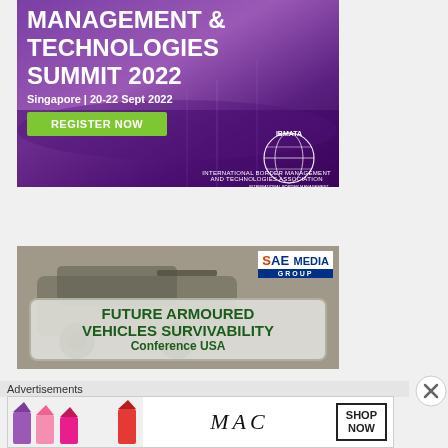[Figure (illustration): IBMATA Border Management & Technologies Summit 2022 advertisement banner. Purple/violet background with crowd silhouette. Text: MANAGEMENT & TECHNOLOGIES SUMMIT 2022, Singapore | 20-22 Sept 2022, REGISTER NOW button in green, IBMATA globe logo bottom right.]
[Figure (illustration): SAE Media Group advertisement for Future Armoured Vehicles Survivability Conference USA. Gray background with armoured vehicle image, SAE Media Group logo top right, green text on rounded rectangle sign.]
Advertisements
[Figure (illustration): MAC cosmetics advertisement showing lipsticks in purple, pink and red colors, MAC logo in italic text, SHOP NOW button with border.]